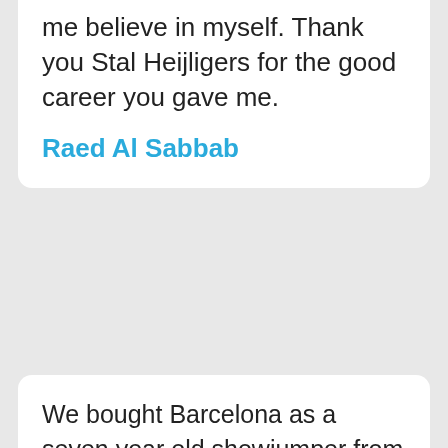me believe in myself. Thank you Stal Heijligers for the good career you gave me.
Raed Al Sabbab
We bought Barcelona as a seven year old showjumper from Stal Heijligers. He was already very talented and made our dreams come true. Barcelona is often successful on international circuits and shows, lately he was ridden in Birmingham CSI3 at a 160 level winning a prize! We are very happy with the acquisition of this horse.